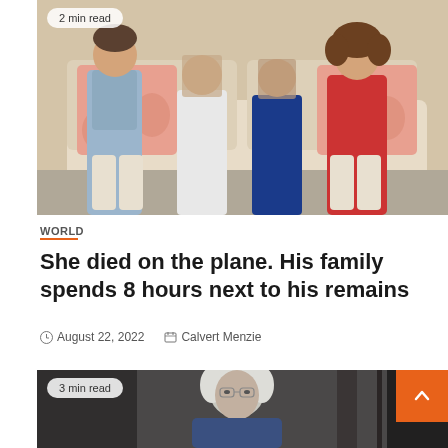[Figure (photo): Family of four — father, two children with blurred faces, and mother — sitting on a beige sofa with floral pillows. Badge reading '2 min read' in top-left corner.]
WORLD
She died on the plane. His family spends 8 hours next to his remains
August 22, 2022   Calvert Menzie
[Figure (photo): Elderly woman with white hair looking at camera in a dark interior. Badge reading '3 min read' in top-left corner.]